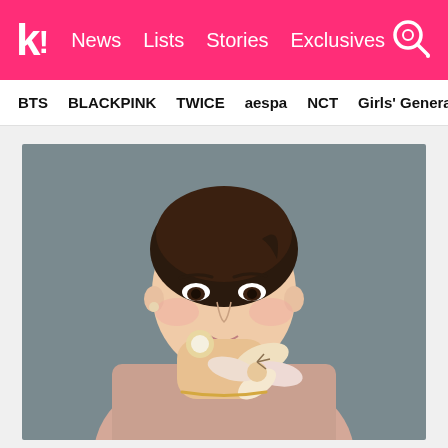k! News Lists Stories Exclusives
BTS BLACKPINK TWICE aespa NCT Girls' Generation
[Figure (photo): A young woman in a pink blouse holding a lily flower up to her face, wearing jewelry including a large floral ring and bracelet, posing against a gray background]